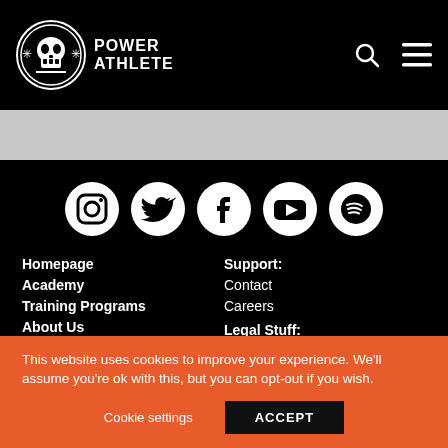[Figure (logo): Power Athlete logo with skull icon and text POWER ATHLETE]
[Figure (infographic): Social media icons row: Instagram, Twitter, Facebook, YouTube, Spotify — white circles on black background]
Homepage
Academy
Training Programs
About Us
Nutrition
Support:
Contact
Careers
Legal Stuff:
This website uses cookies to improve your experience. We'll assume you're ok with this, but you can opt-out if you wish.
Cookie settings
ACCEPT